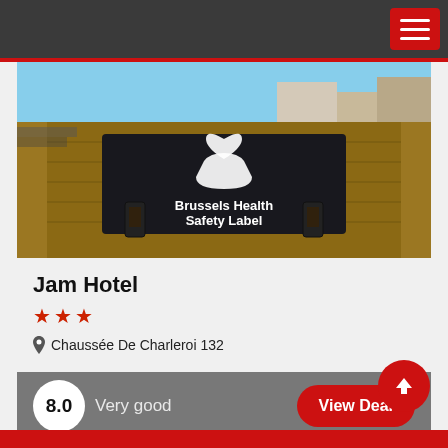[Figure (photo): Rooftop terrace of Jam Hotel showing a dark reflective pool with Brussels Health Safety Label logo (heart and hand icon) and wooden deck surroundings]
Jam Hotel
★★★
📍 Chaussée De Charleroi 132
8.0  Very good
View Deal